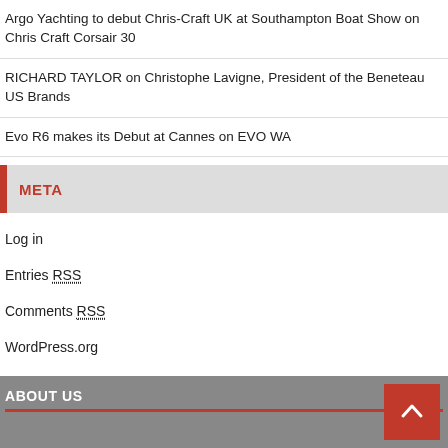Argo Yachting to debut Chris-Craft UK at Southampton Boat Show on Chris Craft Corsair 30
RICHARD TAYLOR on Christophe Lavigne, President of the Beneteau US Brands
Evo R6 makes its Debut at Cannes on EVO WA
META
Log in
Entries RSS
Comments RSS
WordPress.org
ABOUT US